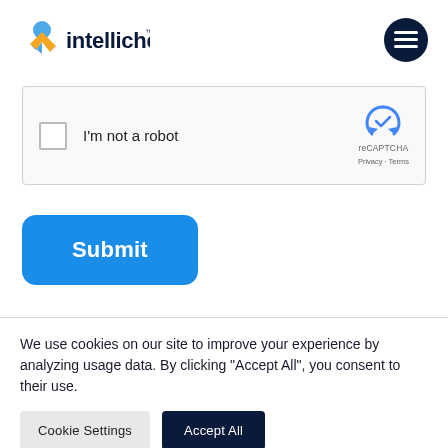[Figure (logo): Intellicheck logo with colorful icon and dark text]
[Figure (screenshot): reCAPTCHA widget with checkbox labeled 'I'm not a robot' and reCAPTCHA branding with Privacy and Terms links]
[Figure (other): Blue Submit button with rounded corners]
We use cookies on our site to improve your experience by analyzing usage data. By clicking "Accept All", you consent to their use.
[Figure (other): Cookie Settings button (light gray) and Accept All button (dark navy)]